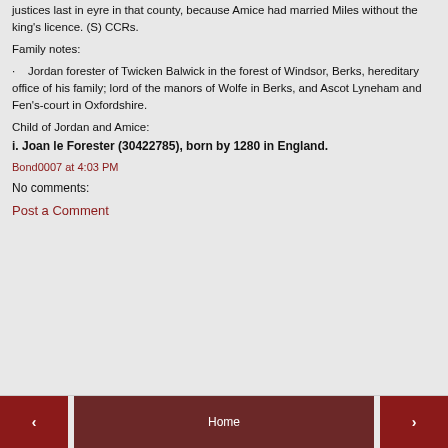which he lately took into the king's hands by order of the justices last in eyre in that county, because Amice had married Miles without the king's licence. (S) CCRs.
Family notes:
· Jordan forester of Twicken Balwick in the forest of Windsor, Berks, hereditary office of his family; lord of the manors of Wolfe in Berks, and Ascot Lyneham and Fen's-court in Oxfordshire.
Child of Jordan and Amice:
i. Joan le Forester (30422785), born by 1280 in England.
Bond0007 at 4:03 PM
No comments:
Post a Comment
< Home >